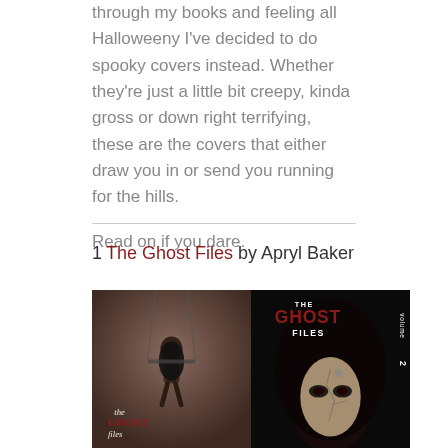through my books and feeling all Halloweeny I've decided to do spooky covers instead. Whether they're just a little bit creepy, kinda gross or down right terrifying, these are the covers that either draw you in or send you running for the hills.
Read on if you dare.
1 The Ghost Files by Apryl Baker
[Figure (photo): Two book covers for 'The Ghost Files' by Apryl Baker. Left cover shows a girl on a swing with chains against a dark background with text 'the Ghost files'. Right cover shows a cracked face with dark eyes against black background with text 'THE GHOST FILES volume 2'.]